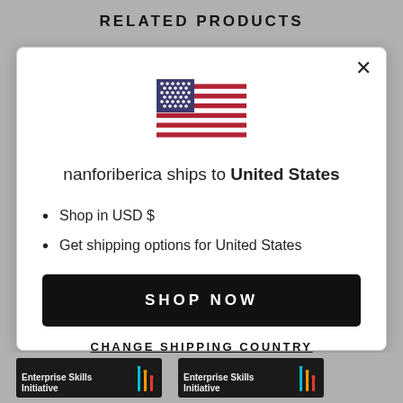RELATED PRODUCTS
[Figure (illustration): US flag icon (stars and stripes)]
nanforiberica ships to United States
Shop in USD $
Get shipping options for United States
SHOP NOW
CHANGE SHIPPING COUNTRY
[Figure (screenshot): Enterprise Skills Initiative thumbnail]
[Figure (screenshot): Enterprise Skills Initiative thumbnail]